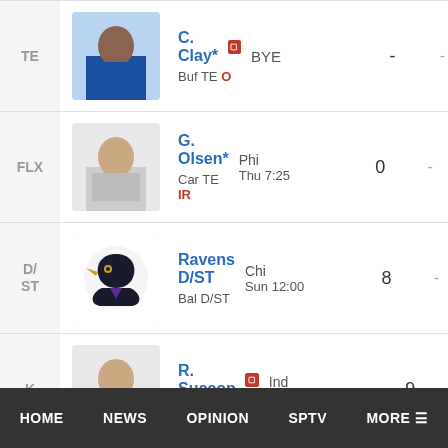| Pos | Player | Matchup | Score | Proj |
| --- | --- | --- | --- | --- |
| TE | C. Clay* [news] Buf TE O | BYE | - | - |
| FLX | G. Olsen* [news] Car TE IR | Phi Thu 7:25 | 0 | - |
| D/ST | Ravens D/ST Bal D/ST | Chi Sun 12:00 | 8 | - |
| K | R. Succop [news] Ten K | Ind Mon 7:30 | 9 | - |
HOME   NEWS   OPINION   SPTV   MORE